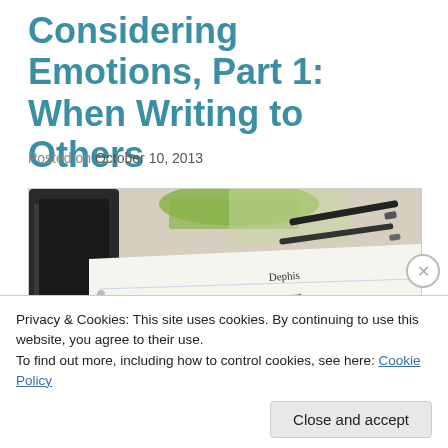Considering Emotions, Part 1: When Writing to Others
Posted on October 10, 2013
[Figure (photo): Photo of a notebook with handwritten notes about emotional intelligence, including a diagram with boxes and arrows. Text visible includes 'Emotional Intelligence', 'Being smart', 'and the feelings of other people', 'Emotional', 'Dupset', 'Sad'. A pen and pencil case visible on desk in background.]
Privacy & Cookies: This site uses cookies. By continuing to use this website, you agree to their use.
To find out more, including how to control cookies, see here: Cookie Policy
Close and accept